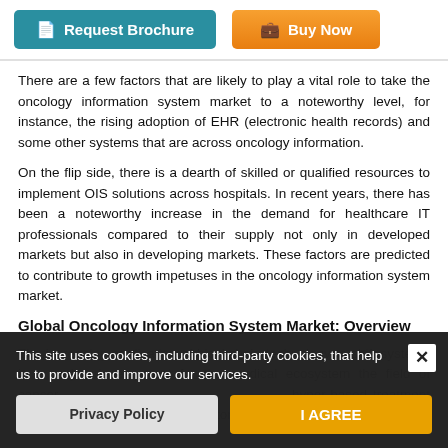[Figure (other): Two buttons: 'Request Brochure' (teal) and 'Buy Now' (orange gradient)]
There are a few factors that are likely to play a vital role to take the oncology information system market to a noteworthy level, for instance, the rising adoption of EHR (electronic health records) and some other systems that are across oncology information.
On the flip side, there is a dearth of skilled or qualified resources to implement OIS solutions across hospitals. In recent years, there has been a noteworthy increase in the demand for healthcare IT professionals compared to their supply not only in developed markets but also in developing markets. These factors are predicted to contribute to growth impetuses in the oncology information system market.
Global Oncology Information System Market: Overview
The increasing application of blockchain technology to shift systems is a major development for the medical ecosystem the field of cancer... hyper-based treatment pr... the major factors determining the oncology...
This site uses cookies, including third-party cookies, that help us to provide and improve our services.